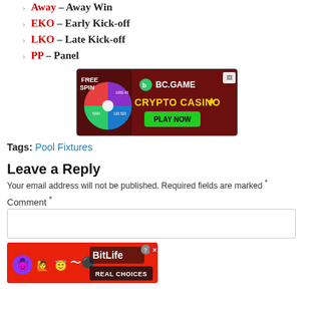Away – Away Win
EKO – Early Kick-off
LKO – Late Kick-off
PP – Panel
[Figure (photo): BC.GAME Crypto Casino advertisement banner with FREE SPIN wheel and PLAY NOW button]
Tags: Pool Fixtures
Leave a Reply
Your email address will not be published. Required fields are marked *
Comment *
[Figure (photo): BitLife - Real Choices advertisement banner with emoji characters]